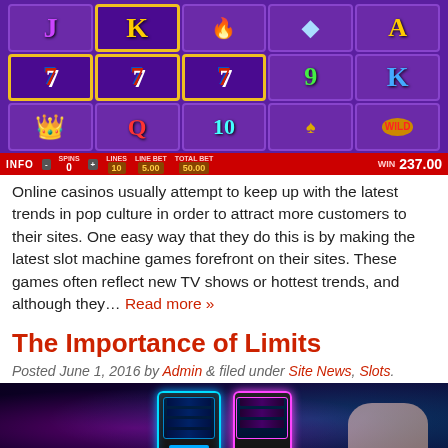[Figure (screenshot): Slot machine game screenshot showing a 5-reel, 3-row slot with symbols (7, J, K, A, Q, 10, 9, crown, diamond, spade, wild) on purple background. Bottom bar shows INFO, SPINS 0, LINES 10, LINE BET 5.00, TOTAL BET 50.00, WIN 237.00]
Online casinos usually attempt to keep up with the latest trends in pop culture in order to attract more customers to their sites. One easy way that they do this is by making the latest slot machine games forefront on their sites. These games often reflect new TV shows or hottest trends, and although they… Read more »
The Importance of Limits
Posted June 1, 2016 by Admin & filed under Site News, Slots.
[Figure (photo): Photo of slot machines with neon blue and pink lighting, showing screens with a hand reaching toward one of the machines]